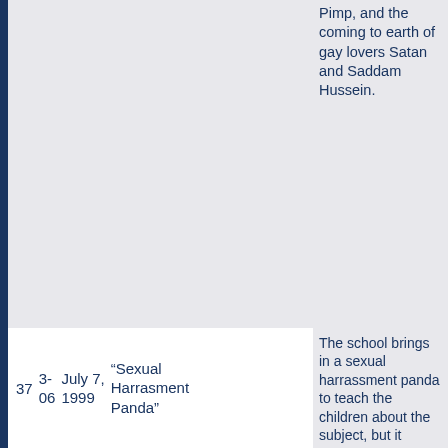Pimp, and the coming to earth of gay lovers Satan and Saddam Hussein.
| # | Season | Date | Title | Description |
| --- | --- | --- | --- | --- |
| 37 | 3-06 | July 7, 1999 | “Sexual Harrasment Panda” | The school brings in a sexual harrassment panda to teach the children about the subject, but it results in everyone suing each other. |